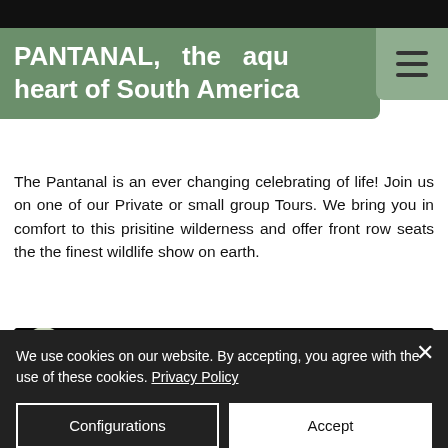PANTANAL, the aquatic heart of South America
The Pantanal is an ever changing celebrating of life! Join us on one of our Private or small group Tours. We bring you in comfort to this prisitine wilderness and offer front row seats the the finest wildlife show on earth.
[Figure (screenshot): YouTube video thumbnail for 'PANTANAL JAGU...' with a circular logo of South America map and a jaguar in the background with a red YouTube play button]
We use cookies on our website. By accepting, you agree with the use of these cookies. Privacy Policy
Configurations
Accept